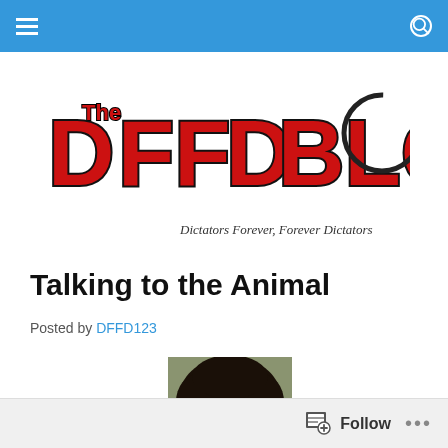Navigation bar with hamburger menu and search icon
[Figure (logo): The DFFD Blog logo — large red block letters with black outline reading 'The DFFD BLOG' with a circular loading/spinner graphic to the right]
Dictators Forever, Forever Dictators
Talking to the Animal
Posted by DFFD123
[Figure (photo): Black and white or faded color photo of a person with a large curly afro hairstyle and glasses, facing forward]
Follow   ...